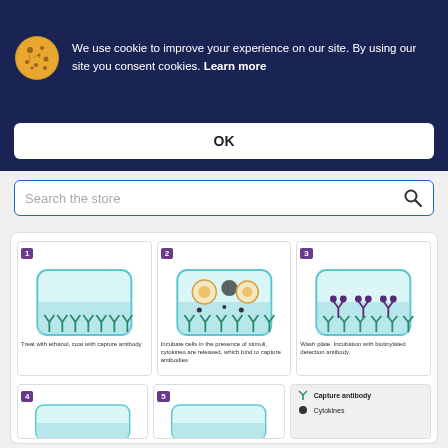We use cookie to improve your experience on our site. By using our site you consent cookies. Learn more
OK
Search the store
[Figure (infographic): Step-by-step ELISPOT/cytokine detection assay diagram. Step 1: Treat with ethanol, coat with capture antibody. Step 2: Incubate cells in the presence of stimuli, cytokines are released, which bind to capture antibodies. Step 3: Wash plate. Incubation with biotinylated detection antibody.]
Treat with ethanol, coat with capture antibody
Incubate cells in the presence of stimuli, cytokines are released, which bind to capture antibodies
Wash plate. Incubation with biotinylated detection antibody.
[Figure (infographic): Steps 4 and 5 of the assay, and a legend showing Capture antibody (Y shape, teal) and Cytokines (dot, dark).]